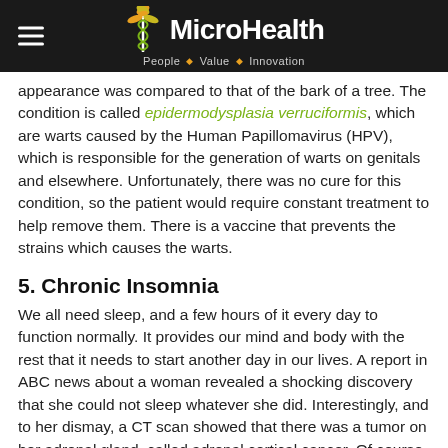MicroHealth — People · Value · Innovation
appearance was compared to that of the bark of a tree. The condition is called epidermodysplasia verruciformis, which are warts caused by the Human Papillomavirus (HPV), which is responsible for the generation of warts on genitals and elsewhere. Unfortunately, there was no cure for this condition, so the patient would require constant treatment to help remove them. There is a vaccine that prevents the strains which causes the warts.
5. Chronic Insomnia
We all need sleep, and a few hours of it every day to function normally. It provides our mind and body with the rest that it needs to start another day in our lives. A report in ABC news about a woman revealed a shocking discovery that she could not sleep whatever she did. Interestingly, and to her dismay, a CT scan showed that there was a tumor on her adrenal gland, called adrenal cortical cancer. Of course, this is just one case and the inability to fall asleep can be due to a number of causes